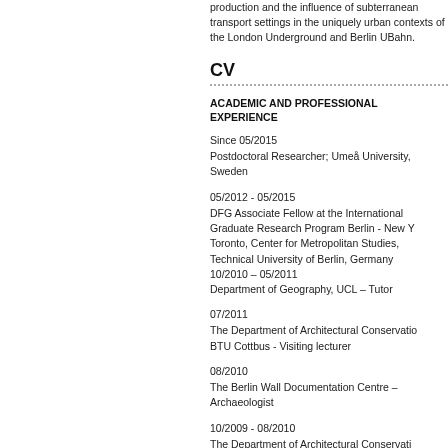production and the influence of subterranean transport settings in the uniquely urban contexts of the London Underground and Berlin UBahn.
CV
ACADEMIC AND PROFESSIONAL EXPERIENCE
Since 05/2015
Postdoctoral Researcher; Umeå University, Sweden
05/2012 - 05/2015
DFG Associate Fellow at the International Graduate Research Program Berlin - New York - Toronto, Center for Metropolitan Studies, Technical University of Berlin, Germany
10/2010 – 05/2011
Department of Geography, UCL – Tutor
07/2011
The Department of Architectural Conservation, BTU Cottbus - Visiting lecturer
08/2010
The Berlin Wall Documentation Centre – Archaeologist
10/2009 - 08/2010
The Department of Architectural Conservation